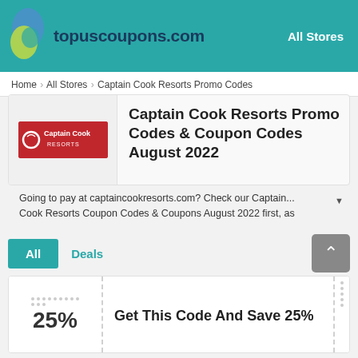[Figure (logo): topuscoupons.com logo with yin-yang style teardrop icon in blue/green and teal header background with 'All Stores' link]
Home > All Stores > Captain Cook Resorts Promo Codes
Captain Cook Resorts Promo Codes & Coupon Codes August 2022
Going to pay at captaincookresorts.com? Check our Captain... Cook Resorts Coupon Codes & Coupons August 2022 first, as
All   Deals
Get This Code And Save 25%